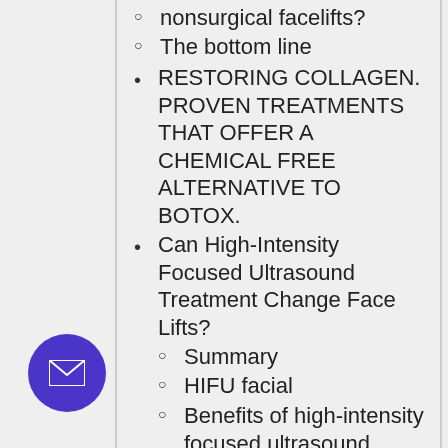nonsurgical facelifts?
The bottom line
RESTORING COLLAGEN. PROVEN TREATMENTS THAT OFFER A CHEMICAL FREE ALTERNATIVE TO BOTOX.
Can High-Intensity Focused Ultrasound Treatment Change Face Lifts?
Summary
HIFU facial
Benefits of high-intensity focused ultrasound
HIFU vs. facelift.
HIFU for face expense.
What does HIFU seem like?
HIFU for face procedure.
HIFU for face...